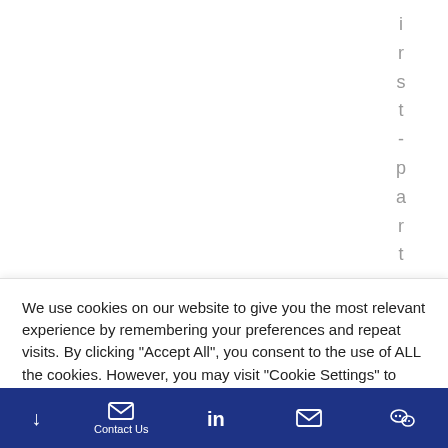irst-party
We use cookies on our website to give you the most relevant experience by remembering your preferences and repeat visits. By clicking "Accept All", you consent to the use of ALL the cookies. However, you may visit "Cookie Settings" to provide a controlled consent.
Cookie Settings | Accept All
Contact Us | LinkedIn | Email | WeChat